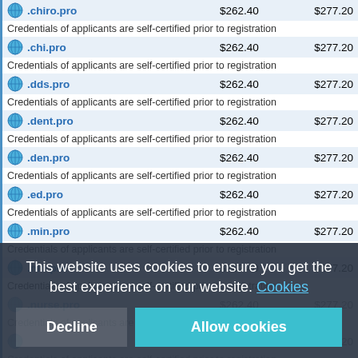| TLD | Price1 | Price2 |
| --- | --- | --- |
| .chiro.pro | $262.40 | $277.20 |
| Credentials of applicants are self-certified prior to registration |  |  |
| .chi.pro | $262.40 | $277.20 |
| Credentials of applicants are self-certified prior to registration |  |  |
| .dds.pro | $262.40 | $277.20 |
| Credentials of applicants are self-certified prior to registration |  |  |
| .dent.pro | $262.40 | $277.20 |
| Credentials of applicants are self-certified prior to registration |  |  |
| .den.pro | $262.40 | $277.20 |
| Credentials of applicants are self-certified prior to registration |  |  |
| .ed.pro | $262.40 | $277.20 |
| Credentials of applicants are self-certified prior to registration |  |  |
| .min.pro | $262.40 | $277.20 |
| Credentials of applicants are self-certified prior to registration |  |  |
| .nitr.pro | $262.40 | $277.20 |
| Credentials of applicants are self-certified prior to registration |  |  |
| .nurse.pro | $262.40 | $277.20 |
| Credentials of applicants are self-certified prior to registration |  |  |
| (row faded) | $262.40 | $277.20 |
| Credentials of applicants are self-certified prior to registration |  |  |
| .npc.pro | $262.40 | $277.20 |
| Credentials of applicants are self-certified prior to registration |  |  |
| .pastor.pro | $262.40 | $277.20 |
| Credentials of applicants are self-certified prior to registration |  |  |
| .pha.pro | $262.40 | $277.20 |
| Credentials of applicants are self-certified prior to registration |  |  |
This website uses cookies to ensure you get the best experience on our website. Cookies